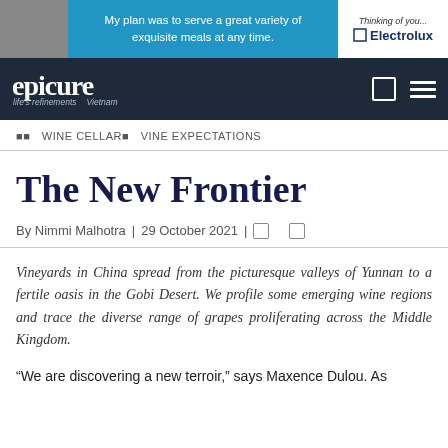[Figure (other): Advertisement banner for Electrolux with blue background, person photo on left, text 'My plan was to serve a great variety of exquisite meals at any time.' and Electrolux branding on right]
epicure | life's refinements | Vietnam
WINE CELLAR | VINE EXPECTATIONS
The New Frontier
By Nimmi Malhotra | 29 October 2021 |
Vineyards in China spread from the picturesque valleys of Yunnan to a fertile oasis in the Gobi Desert. We profile some emerging wine regions and trace the diverse range of grapes proliferating across the Middle Kingdom.
“We are discovering a new terroir,” says Maxence Dulou. As